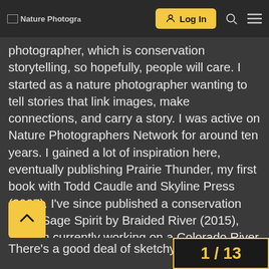Nature Photographers Network — Log In
photographer, which is conservation storytelling, so hopefully, people will care. I started as a nature photographer wanting to tell stories that link images, make connections, and carry a story. I was active on Nature Photographers Network for around ten years. I gained a lot of inspiration here, eventually publishing Prairie Thunder, my first book with Todd Caudle and Skyline Press (2007). I've since published a conservation book, Sage Spirit by Braided River (2015), and am currently working on a Colorado River watershed book project. I'm also a Senior Fellow in the International League of Conservation Photographers (ILCP), a fellowship of 120 conservation photographers around the world who've all pledged to uphold the highest ethical standards. I teach for Summit Workshops, featuring top conservation photographers on staff, each with their own projects and visual story-telling approach.
There's a good deal of sketchy human beh